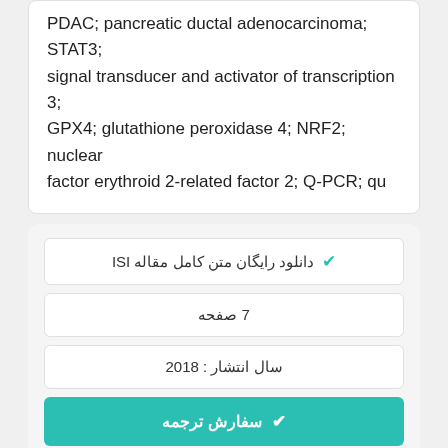PDAC; pancreatic ductal adenocarcinoma; STAT3; signal transducer and activator of transcription 3; GPX4; glutathione peroxidase 4; NRF2; nuclear factor erythroid 2-related factor 2; Q-PCR; qu
✔ دانلود رایگان متن کامل مقاله ISI
7 صفحه
سال انتشار : 2018
✔ سفارش ترجمه
ENPP2 protects cardiomyocytes from